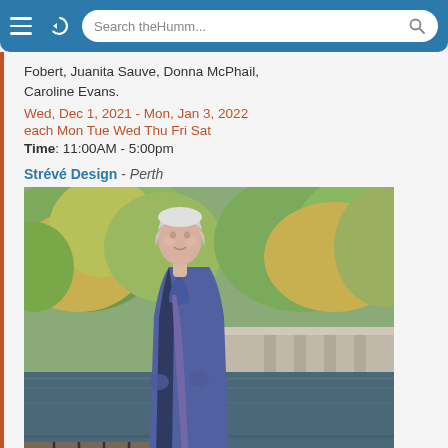Search theHumm...
Fobert, Juanita Sauve, Donna McPhail, Caroline Evans.
Wed, Dec 1, 2021 - Mon, Jan 3, 2022
each Mon Tue Wed Thu Fri Sat
Time: 11:00AM - 5:00pm
Strévé Design - Perth
[Figure (photo): A woman with short white/grey hair wearing a blue coat and scarf standing outdoors near a river with a bridge and autumn trees in the background in Perth.]